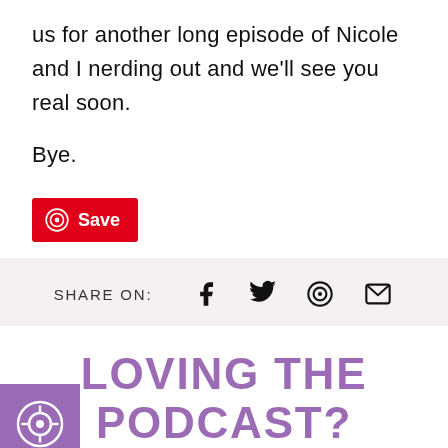us for another long episode of Nicole and I nerding out and we'll see you real soon.

Bye.
[Figure (other): Pinterest Save button — red rectangular button with Pinterest logo and 'Save' label in white]
[Figure (infographic): Share bar with 'SHARE ON:' label and icons for Facebook, Twitter, Pinterest, and Email]
LOVING THE PODCAST?
[Figure (logo): Purple square icon with a circular podcast/help symbol in white]